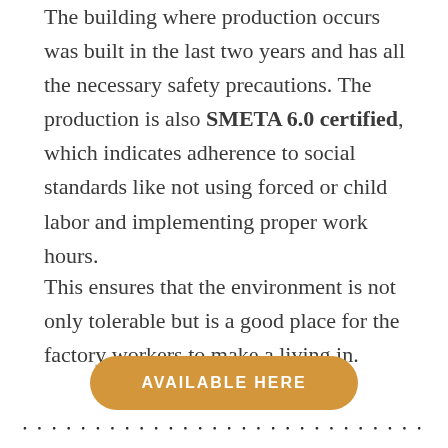The building where production occurs was built in the last two years and has all the necessary safety precautions. The production is also SMETA 6.0 certified, which indicates adherence to social standards like not using forced or child labor and implementing proper work hours.
This ensures that the environment is not only tolerable but is a good place for the factory workers to make a living in.
AVAILABLE HERE